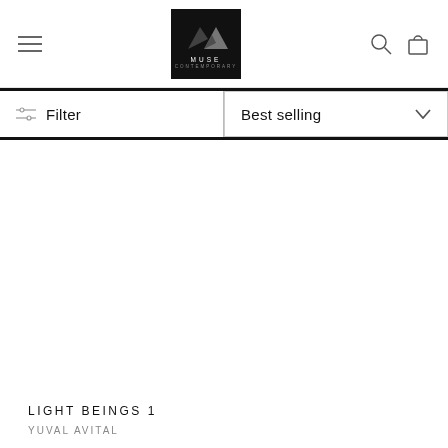[Figure (logo): Muse Contemporary gallery logo — black square with white mountain/triangle shapes above text reading MUSE CONTEMPORARY]
[Figure (screenshot): Navigation header with hamburger menu icon on left, Muse Contemporary logo in center, search and bag icons on right]
Filter
Best selling
LIGHT BEINGS 1
YUVAL AVITAL